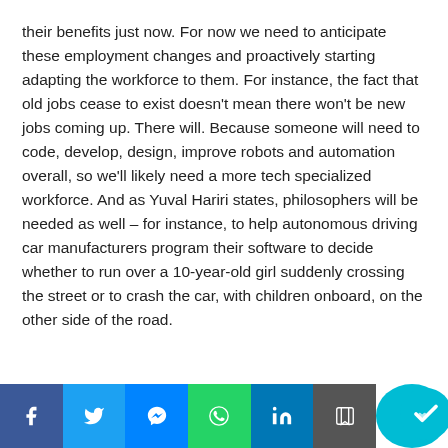their benefits just now. For now we need to anticipate these employment changes and proactively starting adapting the workforce to them. For instance, the fact that old jobs cease to exist doesn't mean there won't be new jobs coming up. There will. Because someone will need to code, develop, design, improve robots and automation overall, so we'll likely need a more tech specialized workforce. And as Yuval Hariri states, philosophers will be needed as well – for instance, to help autonomous driving car manufacturers program their software to decide whether to run over a 10-year-old girl suddenly crossing the street or to crash the car, with children onboard, on the other side of the road.
Social share bar: Facebook, Twitter, Messenger, WhatsApp, LinkedIn, Save, Check